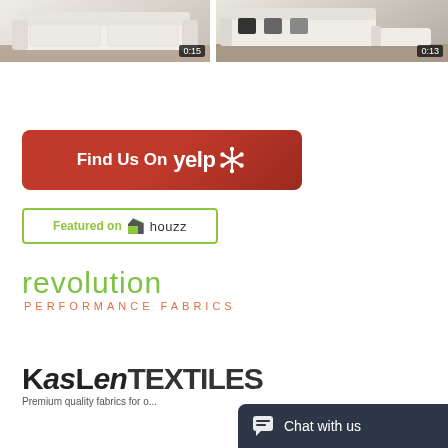[Figure (photo): Two video thumbnails of white sofas side by side. Left shows a white sofa with timestamp 0:15, right shows a white sectional sofa with dark pillows and timestamp 0:13.]
[Figure (logo): Find Us On Yelp banner — red rounded rectangle with white bold text and Yelp snowflake logo.]
[Figure (logo): Featured on Houzz badge — white rectangle with green border, green text 'Featured on', Houzz house icon, and 'houzz' text.]
[Figure (logo): Revolution Performance Fabrics logo — green lowercase 'revolution' wordmark above orange spaced 'PERFORMANCE FABRICS' subtitle.]
[Figure (logo): KasLen Textiles logo — bold sans-serif black text 'KasLen TEXTILES' with tagline 'Premium quality fabrics for...' below.]
[Figure (screenshot): Chat with us widget in bottom-right corner — dark slate background with chat bubble icon and white 'Chat with us' text.]